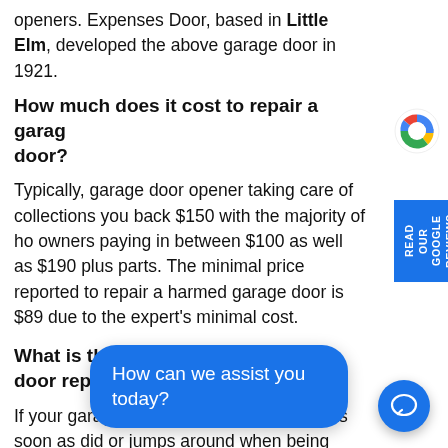openers. Expenses Door, based in Little Elm, developed the above garage door in 1921.
How much does it cost to repair a garage door?
Typically, garage door opener taking care of collections you back $150 with the majority of homeowners paying in between $100 as well as $190 plus parts. The minimal price reported to repair a harmed garage door is $89 due to the expert's minimal cost.
What is the average cost of garage door repair?
If your garage door drops quicker than it as soon as did or jumps around when being utilized, it is most likely as a result of having misaligned springs. This repair work service will cost you $150 to $350. The cable or chains are replaced for, however, the
[Figure (other): Google Reviews sidebar with Google G logo and blue vertical bar reading READ OUR GOOGLE REVIEWS]
[Figure (other): Blue chat popup bubble saying 'How can we assist you today?' with chat icon button]